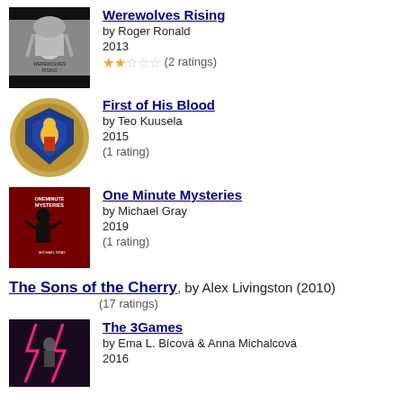[Figure (illustration): Book cover for Werewolves Rising - anime style character with dark and black bar overlay]
Werewolves Rising
by Roger Ronald
2013
★★☆☆☆ (2 ratings)
[Figure (illustration): Book cover for First of His Blood - circular shield/coat of arms illustration]
First of His Blood
by Teo Kuusela
2015
(1 rating)
[Figure (illustration): Book cover for One Minute Mysteries - red/dark book cover with silhouette]
One Minute Mysteries
by Michael Gray
2019
(1 rating)
The Sons of the Cherry, by Alex Livingston (2010)
(17 ratings)
[Figure (illustration): Book cover for The 3Games - dark cover with lightning/neon effect]
The 3Games
by Ema L. Bícová & Anna Michalcová
2016